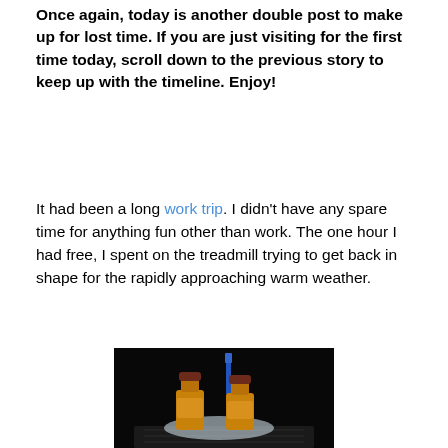Once again, today is another double post to make up for lost time. If you are just visiting for the first time today, scroll down to the previous story to keep up with the timeline. Enjoy!
It had been a long work trip. I didn't have any spare time for anything fun other than work. The one hour I had free, I spent on the treadmill trying to get back in shape for the rapidly approaching warm weather.
[Figure (photo): Photo of two small liquor miniature bottles with bronze/gold liquid and dark caps, with a blue toothbrush in the background, set against a dark/black background on what appears to be a keyboard surface.]